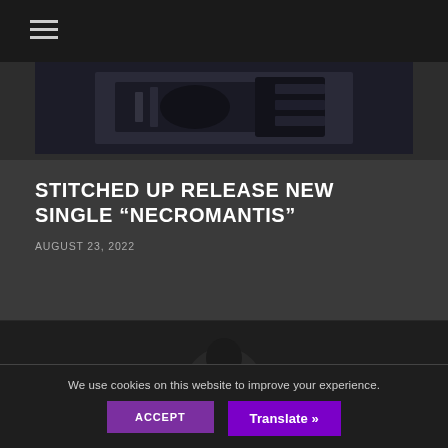[Figure (photo): Dark photograph of music equipment/instruments, appears to be a band or concert related image in black and white tones]
STITCHED UP RELEASE NEW SINGLE “NECROMANTIS”
AUGUST 23, 2022
[Figure (photo): Dark background image with a silhouette figure, part of a music article page]
We use cookies on this website to improve your experience.
ACCEPT
Translate »